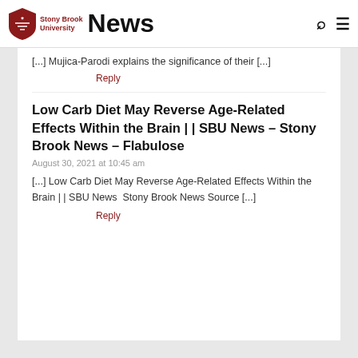Stony Brook University News
[...] Mujica-Parodi explains the significance of their [...]
Reply
Low Carb Diet May Reverse Age-Related Effects Within the Brain | | SBU News – Stony Brook News – Flabulose
August 30, 2021 at 10:45 am
[...] Low Carb Diet May Reverse Age-Related Effects Within the Brain | | SBU News  Stony Brook News Source [...]
Reply